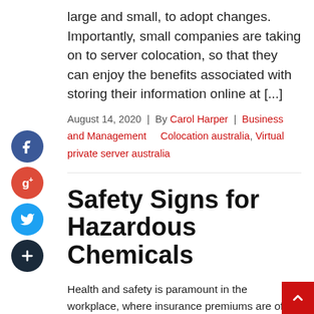large and small, to adopt changes. Importantly, small companies are taking on to server colocation, so that they can enjoy the benefits associated with storing their information online at [...]
August 14, 2020 | By Carol Harper | Business and Management   Colocation australia, Virtual private server australia
Safety Signs for Hazardous Chemicals
Health and safety is paramount in the workplace, where insurance premiums are often adjusted